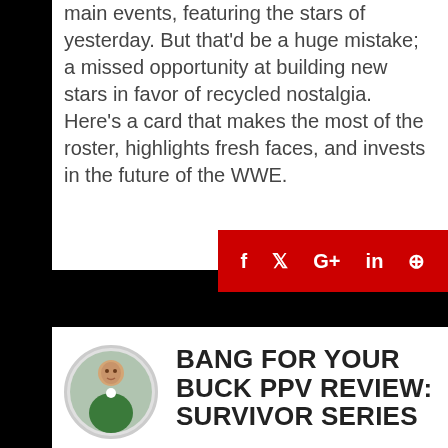main events, featuring the stars of yesterday. But that'd be a huge mistake; a missed opportunity at building new stars in favor of recycled nostalgia.
Here's a card that makes the most of the roster, highlights fresh faces, and invests in the future of the WWE.
[Figure (other): Social sharing bar with red background containing icons for Facebook, Twitter, Google+, LinkedIn, and a share/forward button in white]
[Figure (photo): Circular avatar photo of a man in a green outfit sitting at a table]
BANG FOR YOUR BUCK PPV REVIEW: SURVIVOR SERIES